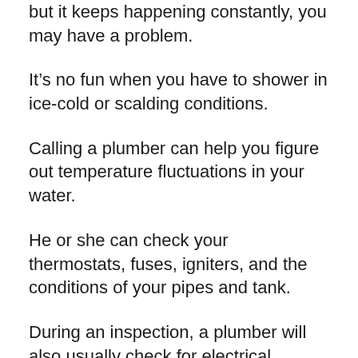but it keeps happening constantly, you may have a problem.
It’s no fun when you have to shower in ice-cold or scalding conditions.
Calling a plumber can help you figure out temperature fluctuations in your water.
He or she can check your thermostats, fuses, igniters, and the conditions of your pipes and tank.
During an inspection, a plumber will also usually check for electrical problems and gas leaks.
You can also find more about Mobile, Alabama’s